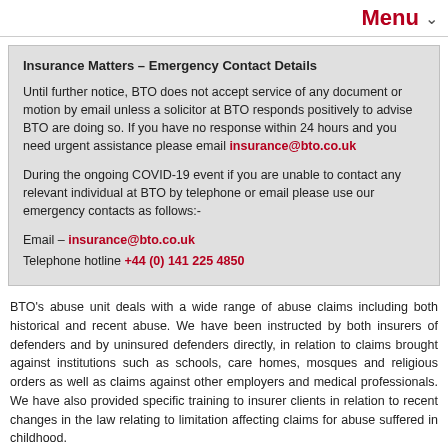Menu
Insurance Matters – Emergency Contact Details
Until further notice, BTO does not accept service of any document or motion by email unless a solicitor at BTO responds positively to advise BTO are doing so. If you have no response within 24 hours and you need urgent assistance please email insurance@bto.co.uk
During the ongoing COVID-19 event if you are unable to contact any relevant individual at BTO by telephone or email please use our emergency contacts as follows:-
Email – insurance@bto.co.uk
Telephone hotline +44 (0) 141 225 4850
BTO's abuse unit deals with a wide range of abuse claims including both historical and recent abuse. We have been instructed by both insurers of defenders and by uninsured defenders directly, in relation to claims brought against institutions such as schools, care homes, mosques and religious orders as well as claims against other employers and medical professionals. We have also provided specific training to insurer clients in relation to recent changes in the law relating to limitation affecting claims for abuse suffered in childhood.